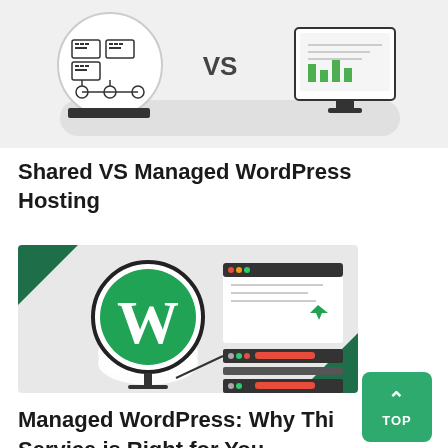[Figure (illustration): Top portion of a diagram showing shared VS managed hosting with server icons connected by network lines on the left and a monitor on the right, partially cropped at the top of the page.]
Shared VS Managed WordPress Hosting
[Figure (illustration): WordPress logo (green W in a circle) with a cloud beneath it connected to a server rack illustration on the right, with a browser window showing text and a cursor, on a light grey background with dark green corner accents.]
Managed WordPress: Why This Service is Right for You